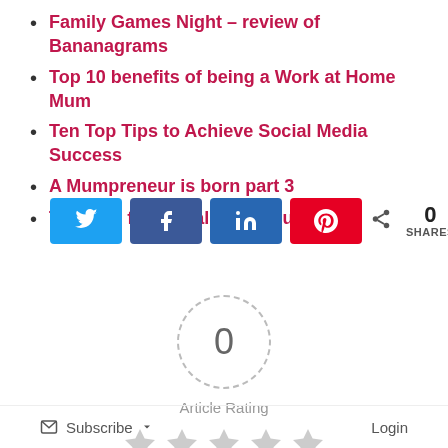Family Games Night – review of Bananagrams
Top 10 benefits of being a Work at Home Mum
Ten Top Tips to Achieve Social Media Success
A Mumpreneur is born part 3
Top Tips for Social Media Success
[Figure (infographic): Social share buttons for Twitter, Facebook, LinkedIn, Pinterest, and a share count showing 0 SHARES]
[Figure (infographic): Article Rating circle showing 0 with dashed border, label 'Article Rating', and five empty star icons below]
Subscribe   Login